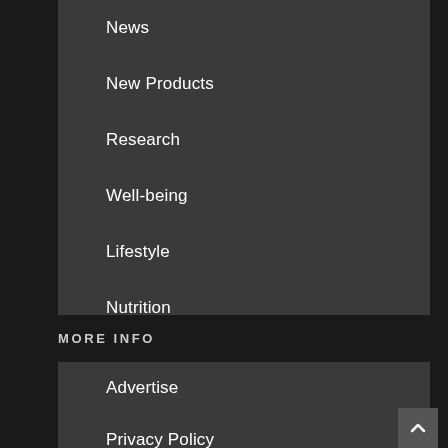News
New Products
Research
Well-being
Lifestyle
Nutrition
MORE INFO
Advertise
Privacy Policy
Terms of Use
CBD Snapshot Fall 2019